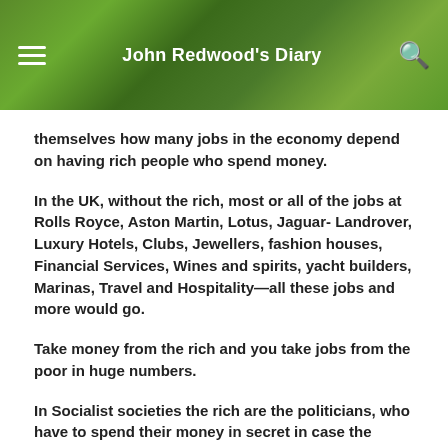John Redwood's Diary
themselves how many jobs in the economy depend on having rich people who spend money.
In the UK, without the rich, most or all of the jobs at Rolls Royce, Aston Martin, Lotus, Jaguar- Landrover, Luxury Hotels, Clubs, Jewellers, fashion houses, Financial Services, Wines and spirits, yacht builders, Marinas, Travel and Hospitality—all these jobs and more would go.
Take money from the rich and you take jobs from the poor in huge numbers.
In Socialist societies the rich are the politicians, who have to spend their money in secret in case the mugs who support them find out they've been conned. (The average Union